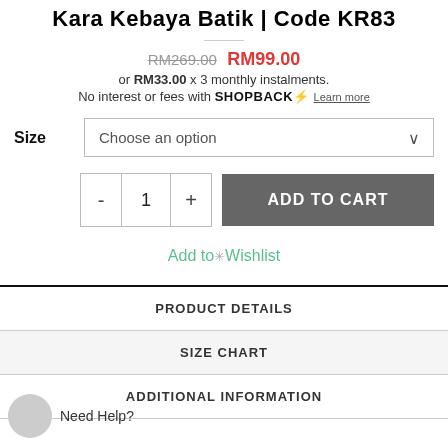Kara Kebaya Batik | Code KR83
RM269.00  RM99.00
or RM33.00 x 3 monthly instalments.
No interest or fees with SHOPBACKS⚡ Learn more
Size  Choose an option
- 1 + ADD TO CART
Add to Wishlist
PRODUCT DETAILS
SIZE CHART
ADDITIONAL INFORMATION
Need Help?